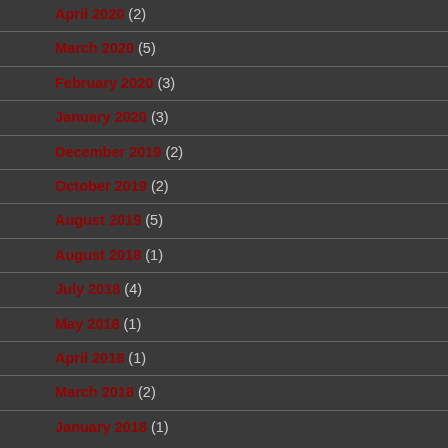April 2020 (2)
March 2020 (5)
February 2020 (3)
January 2020 (3)
December 2019 (2)
October 2019 (2)
August 2019 (5)
August 2018 (1)
July 2018 (4)
May 2018 (1)
April 2018 (1)
March 2018 (2)
January 2018 (1)